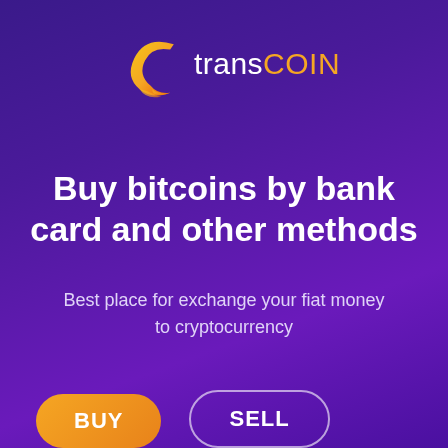[Figure (logo): transCOIN logo: orange gradient crescent C shape with the word 'trans' in white and 'COIN' in orange]
Buy bitcoins by bank card and other methods
Best place for exchange your fiat money to cryptocurrency
BUY  SELL